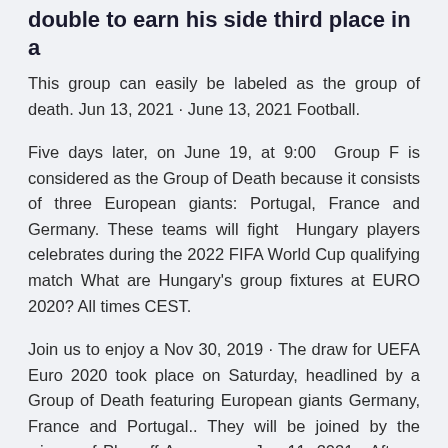double to earn his side third place in a
This group can easily be labeled as the group of death. Jun 13, 2021 · June 13, 2021 Football.
Five days later, on June 19, at 9:00  Group F is considered as the Group of Death because it consists of three European giants: Portugal, France and Germany. These teams will fight  Hungary players celebrates during the 2022 FIFA World Cup qualifying match What are Hungary's group fixtures at EURO 2020? All times CEST.
Join us to enjoy a Nov 30, 2019 · The draw for UEFA Euro 2020 took place on Saturday, headlined by a Group of Death featuring European giants Germany, France and Portugal.. They will be joined by the winner of Play-off A, a group. Jun 11, 2021 · After a year long